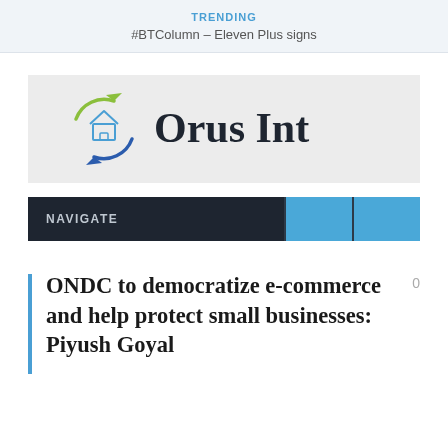TRENDING
#BTColumn – Eleven Plus signs
[Figure (logo): Orus Int logo with circular arrow and house icon, company name in dark serif font]
NAVIGATE
ONDC to democratize e-commerce and help protect small businesses: Piyush Goyal